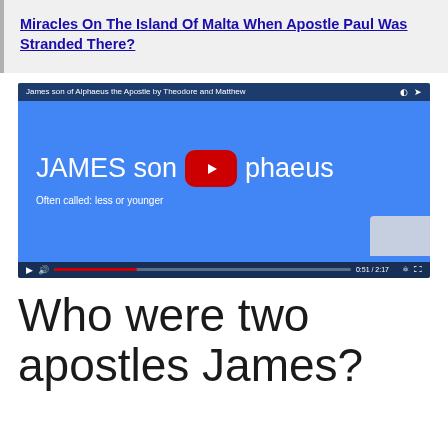Miracles On The Island Of Malta When Apostle Paul Was Stranded There?
[Figure (screenshot): YouTube video thumbnail/player showing 'JAMES son of Alphaeus' with a red play button overlay. Title bar reads 'James son of Alphaeus the Apostle by Theodore and Matthew'. Subtitle text: 'Often called: less or younger'. Blue background with white text.]
Who were two apostles James?